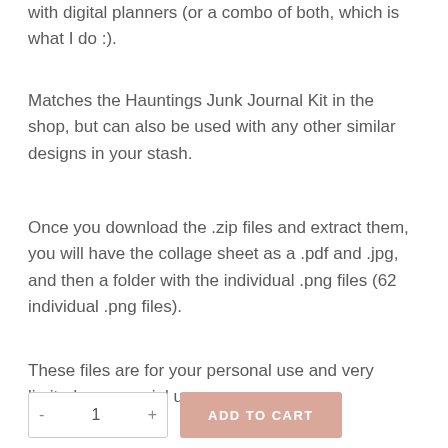with digital planners (or a combo of both, which is what I do :).
Matches the Hauntings Junk Journal Kit in the shop, but can also be used with any other similar designs in your stash.
Once you download the .zip files and extract them, you will have the collage sheet as a .pdf and .jpg, and then a folder with the individual .png files (62 individual .png files).
These files are for your personal use and very limited commercial use.